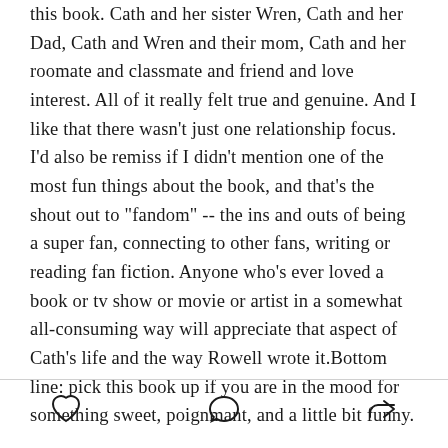this book. Cath and her sister Wren, Cath and her Dad, Cath and Wren and their mom, Cath and her roomate and classmate and friend and love interest. All of it really felt true and genuine. And I like that there wasn't just one relationship focus. I'd also be remiss if I didn't mention one of the most fun things about the book, and that's the shout out to "fandom" -- the ins and outs of being a super fan, connecting to other fans, writing or reading fan fiction. Anyone who's ever loved a book or tv show or movie or artist in a somewhat all-consuming way will appreciate that aspect of Cath's life and the way Rowell wrote it.Bottom line: pick this book up if you are in the mood for something sweet, poignmant, and a little bit funny.
[Figure (other): Three social action icons in a footer bar: heart (like), speech bubble (comment), and share arrow]